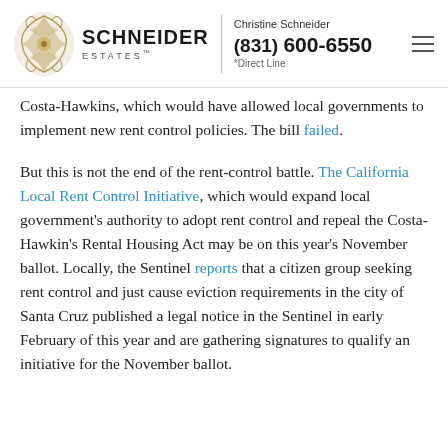Schneider Estates — Christine Schneider (831) 600-6550 *Direct Line
Costa-Hawkins, which would have allowed local governments to implement new rent control policies. The bill failed.
But this is not the end of the rent-control battle. The California Local Rent Control Initiative, which would expand local government's authority to adopt rent control and repeal the Costa-Hawkin's Rental Housing Act may be on this year's November ballot. Locally, the Sentinel reports that a citizen group seeking rent control and just cause eviction requirements in the city of Santa Cruz published a legal notice in the Sentinel in early February of this year and are gathering signatures to qualify an initiative for the November ballot.